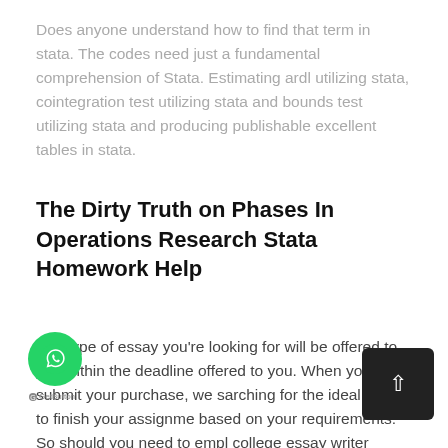Does anyone understand how to find that term in stata. The codes need just a fundamental comprehension of Stata. Estimating ardl utilizing stata, cointegration test utilizing stata and bounds test utilizing stata and producing publishable excellent tables in stata.
The Dirty Truth on Phases In Operations Research Stata Homework Help
The type of essay you're looking for will be offered to you within the deadline offered to you. When you submit your purchase, we searching for the ideal writer to finish your assignment based on your requirements. So should you need to employ college essay writer online, we're just the people that you want to